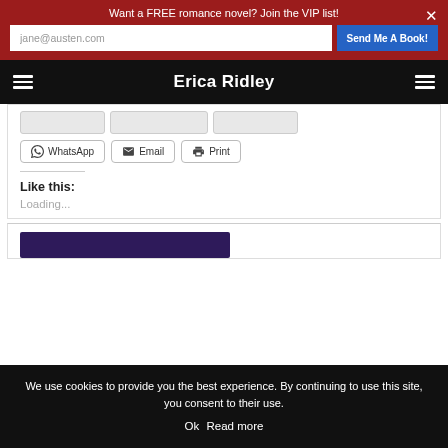Want a FREE romance novel? Join the VIP list!
Erica Ridley
[Figure (screenshot): Share buttons row: WhatsApp, Email, Print]
Like this:
Loading...
[Figure (photo): Partial book cover image with dark purple background]
We use cookies to provide you the best experience. By continuing to use this site, you consent to their use.
Ok   Read more